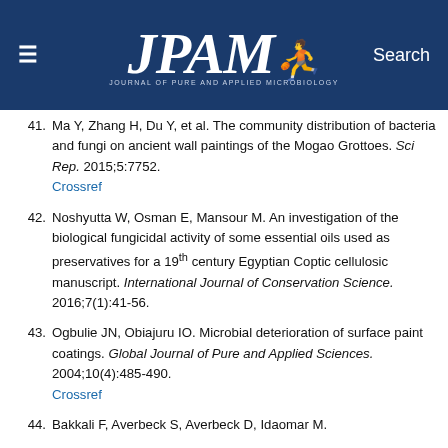JPAM - Journal of Pure and Applied Microbiology
41. Ma Y, Zhang H, Du Y, et al. The community distribution of bacteria and fungi on ancient wall paintings of the Mogao Grottoes. Sci Rep. 2015;5:7752. Crossref
42. Noshyutta W, Osman E, Mansour M. An investigation of the biological fungicidal activity of some essential oils used as preservatives for a 19th century Egyptian Coptic cellulosic manuscript. International Journal of Conservation Science. 2016;7(1):41-56.
43. Ogbulie JN, Obiajuru IO. Microbial deterioration of surface paint coatings. Global Journal of Pure and Applied Sciences. 2004;10(4):485-490. Crossref
44. Bakkali F, Averbeck S, Averbeck D, Idaomar M.